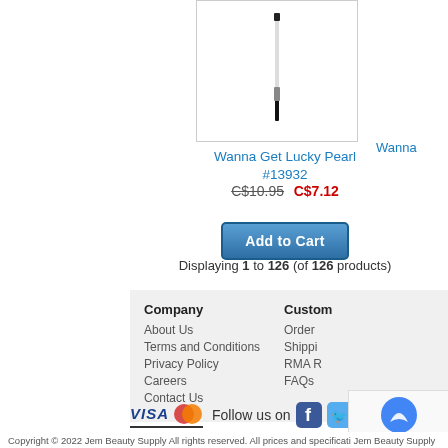[Figure (photo): Product image of a cosmetic pencil/liner on white background]
Wanna Get Lucky Pearl #13932
C$10.95  C$7.12
Add to Cart
Wanna (partially visible)
Displaying 1 to 126 (of 126 products)
Company
About Us
Terms and Conditions
Privacy Policy
Careers
Contact Us
Custom
Order
Shippi
RMA R
FAQs
[Figure (logo): VISA and Mastercard payment logos, Facebook and Twitter social media icons]
Follow us on
Copyright © 2022 Jem Beauty Supply All rights reserved. All prices and specificati... Jem Beauty Supply is not responsible for typographical errors. All typographical er...